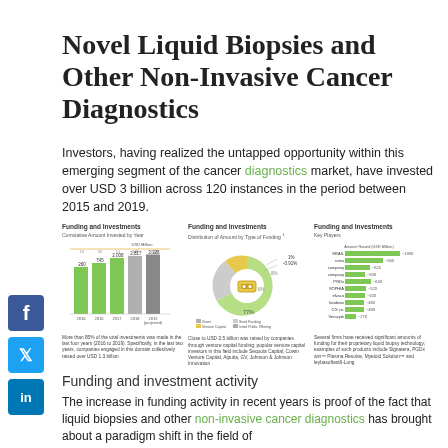Novel Liquid Biopsies and Other Non-Invasive Cancer Diagnostics
Investors, having realized the untapped opportunity within this emerging segment of the cancer diagnostics market, have invested over USD 3 billion across 120 instances in the period between 2015 and 2019.
[Figure (bar-chart): Funding and Investments – Cumulative Amount Invested by Year]
[Figure (donut-chart): Donut chart showing distribution: Venture Capital 77%, Grant, Seed Funding, Initial Public Offering, Secondary Offerings, Debt financing, Other Costs. Notable segments labeled 1%, 0.91%, 8%.]
[Figure (bar-chart): Horizontal bar chart showing key players: GRAIL ~1390, rutea ~940, company ~625, company ~500, PGDx ~640, SOPHIA ~520, elvaco ~500, biodesix ~480, CG company ~480, Veracyte ~270 (USD millions)]
Funding and investment activity
The increase in funding activity in recent years is proof of the fact that liquid biopsies and other non-invasive cancer diagnostics has brought about a paradigm shift in the field of